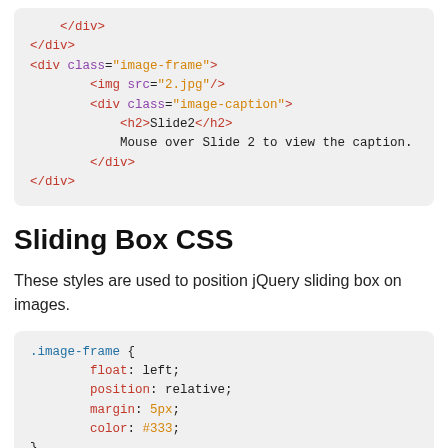[Figure (screenshot): Code block showing HTML snippet with div class='image-frame', img src='2.jpg', div class='image-caption', h2 Slide2, and closing tags.]
Sliding Box CSS
These styles are used to position jQuery sliding box on images.
[Figure (screenshot): CSS code block showing .image-frame and .image-frame .image-caption rules with properties float, position, margin, color, display, opacity.]